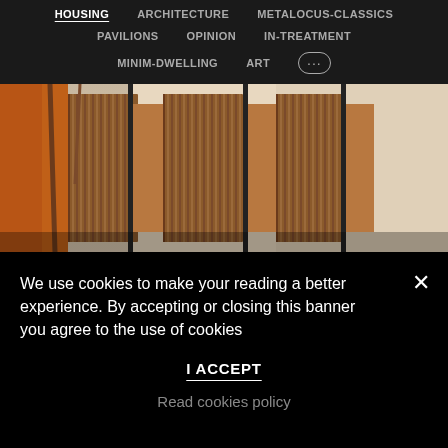HOUSING  ARCHITECTURE  METALOCUS-CLASSICS  PAVILIONS  OPINION  IN-TREATMENT  MINIM-DWELLING  ART  ...
[Figure (photo): Exterior photo of a building facade with wooden slatted panels and bare trees in front, warm tones]
We use cookies to make your reading a better experience. By accepting or closing this banner you agree to the use of cookies
I ACCEPT
Read cookies policy